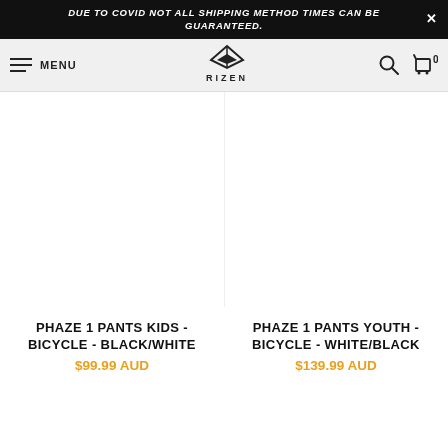DUE TO COVID NOT ALL SHIPPING METHOD TIMES CAN BE GUARANTEED.
[Figure (logo): RIZEN brand logo with stylized diamond/triangle icon above the word RIZEN]
MENU
[Figure (photo): Product image placeholder for Phaze 1 Pants Kids - Bicycle - Black/White]
[Figure (photo): Product image placeholder for Phaze 1 Pants Youth - Bicycle - White/Black]
PHAZE 1 PANTS KIDS - BICYCLE - BLACK/WHITE
$99.99 AUD
PHAZE 1 PANTS YOUTH - BICYCLE - WHITE/BLACK
$139.99 AUD